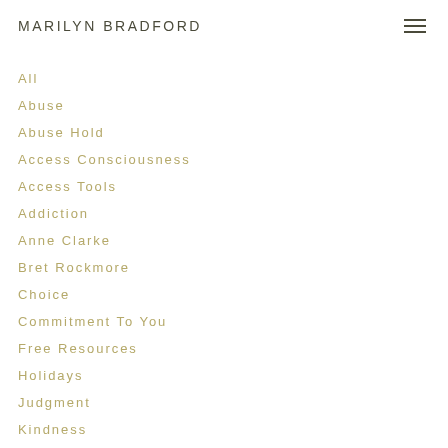MARILYN BRADFORD
All
Abuse
Abuse Hold
Access Consciousness
Access Tools
Addiction
Anne Clarke
Bret Rockmore
Choice
Commitment To You
Free Resources
Holidays
Judgment
Kindness